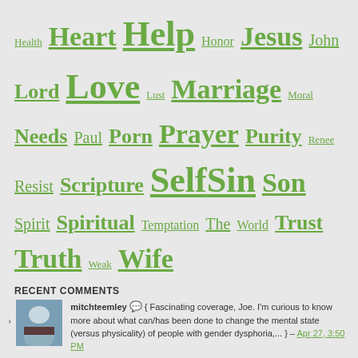Health Heart Help Honor Jesus John Lord Love Lust Marriage Moral Needs Paul Porn Prayer Purity Renee Resist Scripture Self Sin Son Spirit Spiritual Temptation The World Trust Truth Weak Wife
RECENT COMMENTS
mitchteemley { Fascinating coverage, Joe. I'm curious to know more about what can/has been done to change the mental state (versus physicality) of people with gender dysphoria,... } – Apr 27, 3:50 PM
Cindy Brown { Your ministry and perspective is a tremendous blessing. Thank you for sharing your struggle and what God has taught you through it. As a compassionate... } – Apr 26, 9:38 AM
Curtis Nabors { Joe- as always, excellent writing and research! And I love how you always remember to talk about the heart of God. I can't imagine what... } – Apr 25, 7:12 PM
flygirljc { I WAS SICKENED WHEN HE TOLD THE STORY